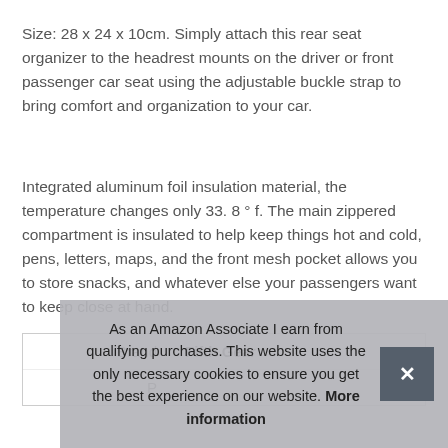Size: 28 x 24 x 10cm. Simply attach this rear seat organizer to the headrest mounts on the driver or front passenger car seat using the adjustable buckle strap to bring comfort and organization to your car.
Integrated aluminum foil insulation material, the temperature changes only 33. 8 ° f. The main zippered compartment is insulated to help keep things hot and cold, pens, letters, maps, and the front mesh pocket allows you to store snacks, and whatever else your passengers want to keep close at hand.
| Brand | Fifth Gear |
| P |  |
As an Amazon Associate I earn from qualifying purchases. This website uses the only necessary cookies to ensure you get the best experience on our website. More information